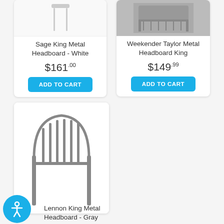[Figure (photo): Sage King Metal Headboard - White product image, white background]
Sage King Metal Headboard - White
$161.00
ADD TO CART
[Figure (photo): Weekender Taylor Metal Headboard King product image, gray/dark headboard photo]
Weekender Taylor Metal Headboard King
$149.99
ADD TO CART
[Figure (photo): Lennon King Metal Headboard - Gray product image, gray metal headboard with vertical bars]
Lennon King Metal Headboard - Gray